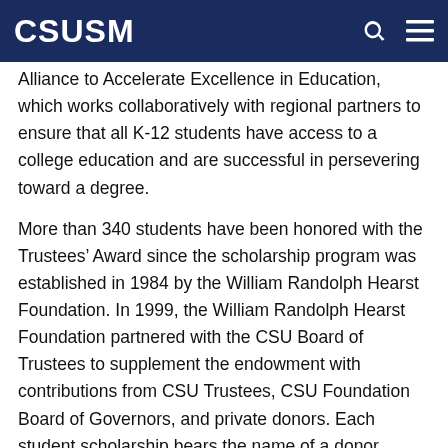CSUSM
Alliance to Accelerate Excellence in Education, which works collaboratively with regional partners to ensure that all K-12 students have access to a college education and are successful in persevering toward a degree.
More than 340 students have been honored with the Trustees’ Award since the scholarship program was established in 1984 by the William Randolph Hearst Foundation. In 1999, the William Randolph Hearst Foundation partnered with the CSU Board of Trustees to supplement the endowment with contributions from CSU Trustees, CSU Foundation Board of Governors, and private donors. Each student scholarship bears the name of a donor.